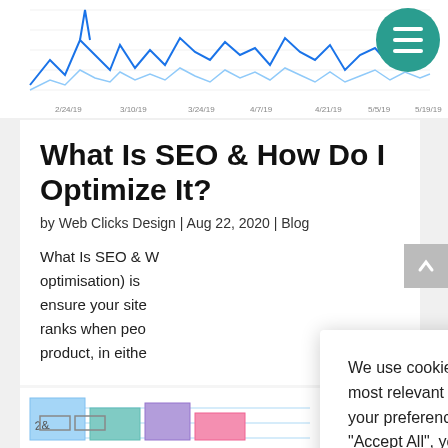[Figure (continuous-plot): Line chart showing web analytics data over time from 2/24/19 to 5/19/19 with blue wavy lines]
What Is SEO & How Do I Optimize It?
by Web Clicks Design | Aug 22, 2020 | Blog
What Is SEO & W... optimisation) is... ensure your site... ranks when peo... product, in eithe...
We use cookies on our website to give you the most relevant experience by remembering your preferences and repeat visits. By clicking "Accept All", you consent to the use of ALL the cookies. However, you may visit "Cookie Settings" to provide a controlled consent.
[Figure (photo): Notebook with handwritten notes and colorful sticky notes/papers at the bottom of the page]